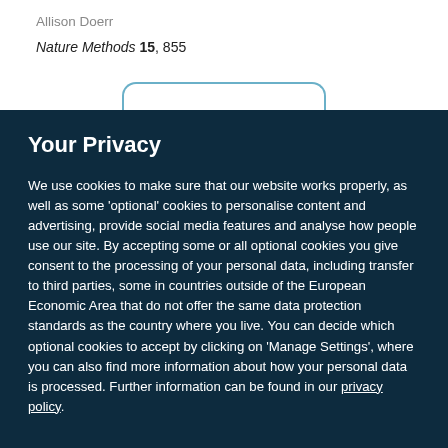Allison Doerr
Nature Methods 15, 855
Your Privacy
We use cookies to make sure that our website works properly, as well as some 'optional' cookies to personalise content and advertising, provide social media features and analyse how people use our site. By accepting some or all optional cookies you give consent to the processing of your personal data, including transfer to third parties, some in countries outside of the European Economic Area that do not offer the same data protection standards as the country where you live. You can decide which optional cookies to accept by clicking on 'Manage Settings', where you can also find more information about how your personal data is processed. Further information can be found in our privacy policy.
Accept all cookies
Manage preferences